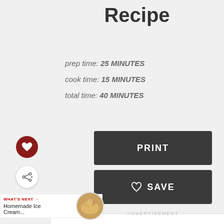Recipe
prep time: 25 MINUTES
cook time: 15 MINUTES
total time: 40 MINUTES
PRINT
♡ SAVE
ADVERTISEMENT
WHAT'S NEXT → Homemade Ice Cream...